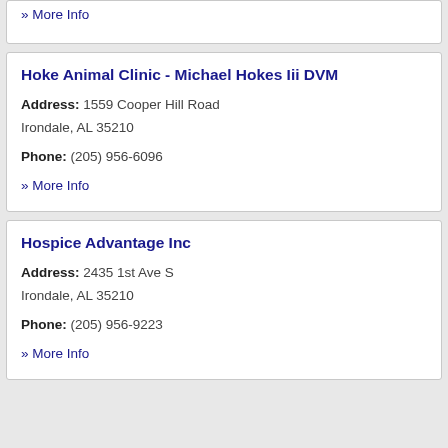» More Info
Hoke Animal Clinic - Michael Hokes Iii DVM
Address: 1559 Cooper Hill Road Irondale, AL 35210
Phone: (205) 956-6096
» More Info
Hospice Advantage Inc
Address: 2435 1st Ave S Irondale, AL 35210
Phone: (205) 956-9223
» More Info